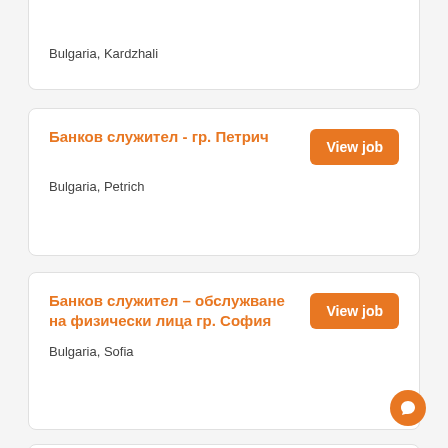Bulgaria, Kardzhali
Банков служител - гр. Петрич
Bulgaria, Petrich
Банков служител – обслужване на физически лица гр. София
Bulgaria, Sofia